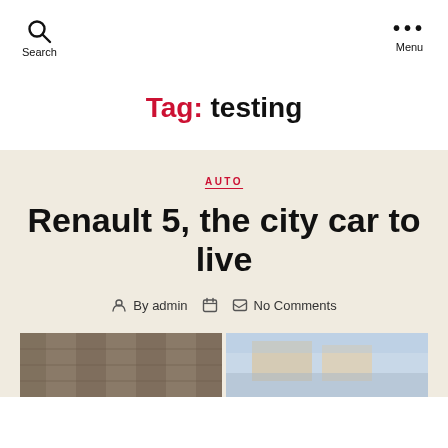Search  Menu
Tag: testing
AUTO
Renault 5, the city car to live
By admin  No Comments
[Figure (photo): Two building photographs side by side at the bottom of the page]